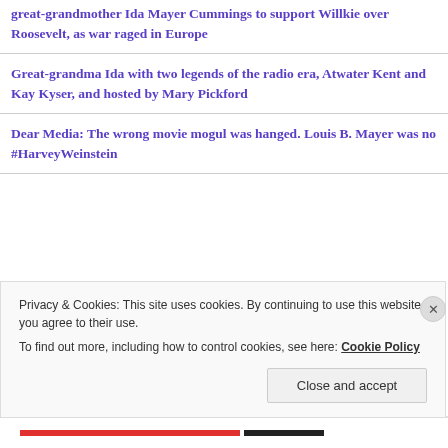great-grandmother Ida Mayer Cummings to support Willkie over Roosevelt, as war raged in Europe
Great-grandma Ida with two legends of the radio era, Atwater Kent and Kay Kyser, and hosted by Mary Pickford
Dear Media: The wrong movie mogul was hanged. Louis B. Mayer was no #HarveyWeinstein
Privacy & Cookies: This site uses cookies. By continuing to use this website, you agree to their use. To find out more, including how to control cookies, see here: Cookie Policy